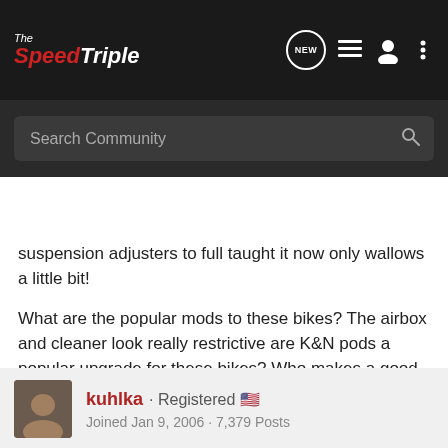The SpeedTriple - NEW
suspension adjusters to full taught it now only wallows a little bit!
What are the popular mods to these bikes? The airbox and cleaner look really restrictive are K&N pods a popular upgrade for these bikes? Who makes a good (light) 3 - 1 pipe?
Suspension wise what are the options for the rear shock?
kuhlka · Registered 🇺🇸
Joined Jan 9, 2006 · 7,379 Posts